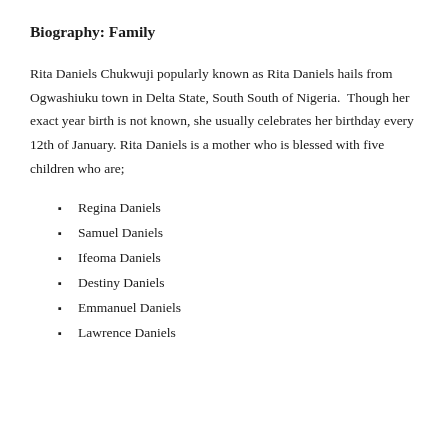Biography: Family
Rita Daniels Chukwuji popularly known as Rita Daniels hails from Ogwashiuku town in Delta State, South South of Nigeria.  Though her exact year birth is not known, she usually celebrates her birthday every 12th of January. Rita Daniels is a mother who is blessed with five children who are;
Regina Daniels
Samuel Daniels
Ifeoma Daniels
Destiny Daniels
Emmanuel Daniels
Lawrence Daniels